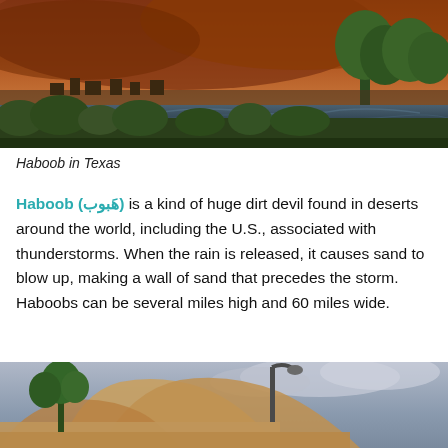[Figure (photo): Panoramic photo of a large haboob dust storm approaching a town in Texas, with a river and trees visible in the foreground and a massive reddish-brown dust wall in the background.]
Haboob in Texas
Haboob (هَبوب) is a kind of huge dirt devil found in deserts around the world, including the U.S., associated with thunderstorms. When the rain is released, it causes sand to blow up, making a wall of sand that precedes the storm. Haboobs can be several miles high and 60 miles wide.
[Figure (photo): Photo showing a haboob dust storm with a large wall of sand engulfing trees and a street lamp, with a partly cloudy sky visible above.]